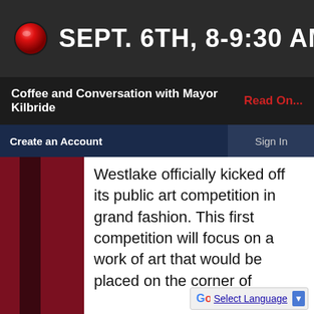SEPT. 6TH, 8-9:30 AM
Coffee and Conversation with Mayor Kilbride    Read On...
Create an Account    Sign In
Westlake officially kicked off its public art competition in grand fashion. This first competition will focus on a work of art that would be placed on the corner of